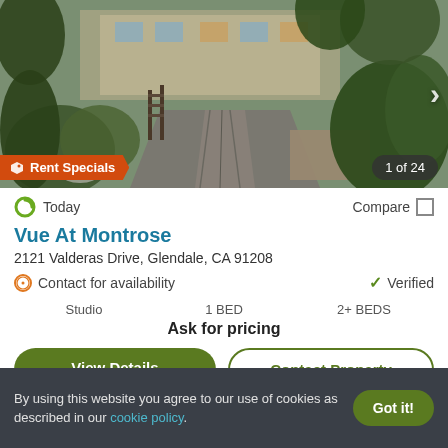[Figure (photo): Exterior walkway/entrance of Vue At Montrose apartment complex, showing a paved path, landscaping with plants, and mid-century modern style building. Badge: 'Rent Specials' on lower left, '1 of 24' on lower right, right-arrow navigation.]
Today
Compare
Vue At Montrose
2121 Valderas Drive, Glendale, CA 91208
Contact for availability
Verified
Studio  1 BED  2+ BEDS
Ask for pricing
View Details
Contact Property
By using this website you agree to our use of cookies as described in our cookie policy.